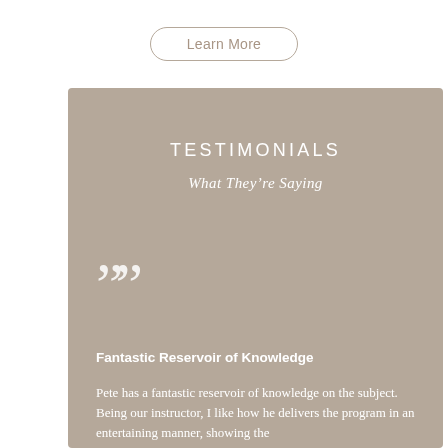Learn More
TESTIMONIALS
What They're Saying
””
Fantastic Reservoir of Knowledge
Pete has a fantastic reservoir of knowledge on the subject. Being our instructor, I like how he delivers the program in an entertaining manner, showing the